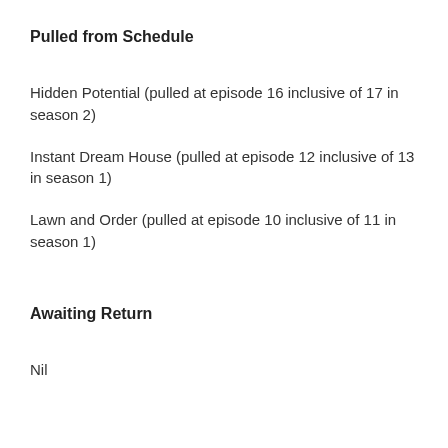Pulled from Schedule
Hidden Potential (pulled at episode 16 inclusive of 17 in season 2)
Instant Dream House (pulled at episode 12 inclusive of 13 in season 1)
Lawn and Order (pulled at episode 10 inclusive of 11 in season 1)
Awaiting Return
Nil